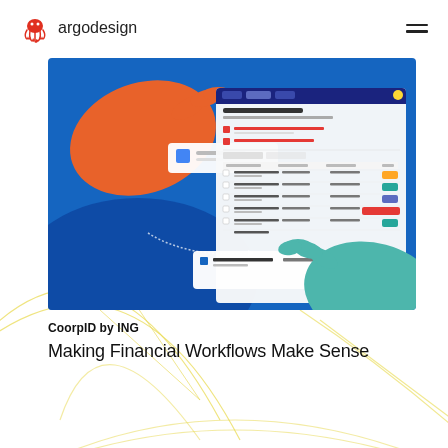argodesign
[Figure (screenshot): CoorpID by ING application interface screenshot showing a financial workflow dashboard with document list, collaboration between Stark B.V. and Apogee Bank, with illustrated hands (orange and teal) reaching for UI cards on a blue background]
CoorpID by ING
Making Financial Workflows Make Sense